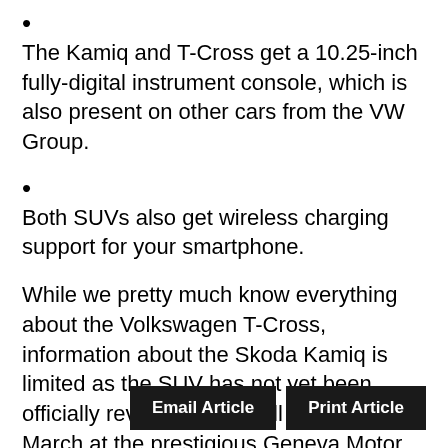The Kamiq and T-Cross get a 10.25-inch fully-digital instrument console, which is also present on other cars from the VW Group.
Both SUVs also get wireless charging support for your smartphone.
While we pretty much know everything about the Volkswagen T-Cross, information about the Skoda Kamiq is limited as the SUV has not yet been officially revealed. That will be done in March at the prestigious Geneva Motor Show. Till then, stay tuned to CarDekho for all the latest information about Skoda’s upcoming SUV.
Email Article
Print Article